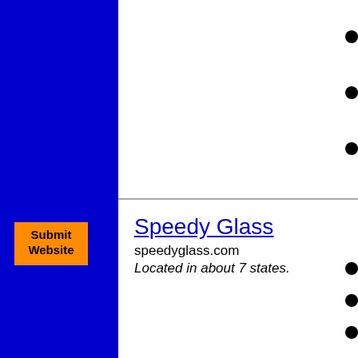[Figure (screenshot): Blue left sidebar with orange Submit Website button, white up arrow triangle, white down arrow triangle]
Submit Website
Speedy Glass
speedyglass.com
Located in about 7 states.